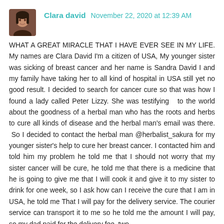[Figure (photo): Small square avatar photo of a woman with dark hair]
Clara david  November 22, 2020 at 12:39 AM
WHAT A GREAT MIRACLE THAT I HAVE EVER SEE IN MY LIFE. My names are Clara David I'm a citizen of USA, My younger sister was sicking of breast cancer and her name is Sandra David I and my family have taking her to all kind of hospital in USA still yet no good result. I decided to search for cancer cure so that was how I found a lady called Peter Lizzy. She was testifying  to the world about the goodness of a herbal man who has the roots and herbs to cure all kinds of disease and the herbal man's email was there. So I decided to contact the herbal man @herbalist_sakura for my younger sister's help to cure her breast cancer. I contacted him and told him my problem he told me that I should not worry that my sister cancer will be cure, he told me that there is a medicine that he is going to give me that I will cook it and give it to my sister to drink for one week, so I ask how can I receive the cure that I am in USA, he told me That I will pay for the delivery service. The courier service can transport it to me so he told me the amount I will pay, so my dad paid for the delivery fee. two